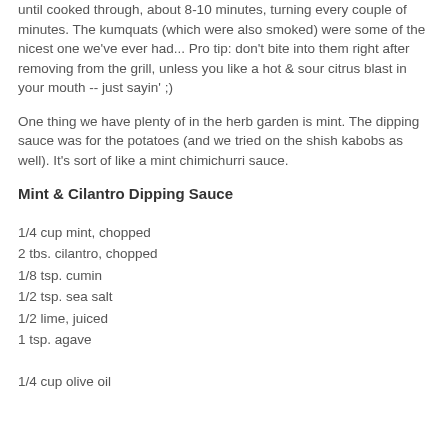until cooked through, about 8-10 minutes, turning every couple of minutes. The kumquats (which were also smoked) were some of the nicest one we've ever had... Pro tip: don't bite into them right after removing from the grill, unless you like a hot & sour citrus blast in your mouth -- just sayin' ;)
One thing we have plenty of in the herb garden is mint. The dipping sauce was for the potatoes (and we tried on the shish kabobs as well). It's sort of like a mint chimichurri sauce.
Mint & Cilantro Dipping Sauce
1/4 cup mint, chopped
2 tbs. cilantro, chopped
1/8 tsp. cumin
1/2 tsp. sea salt
1/2 lime, juiced
1 tsp. agave
1/4 cup olive oil